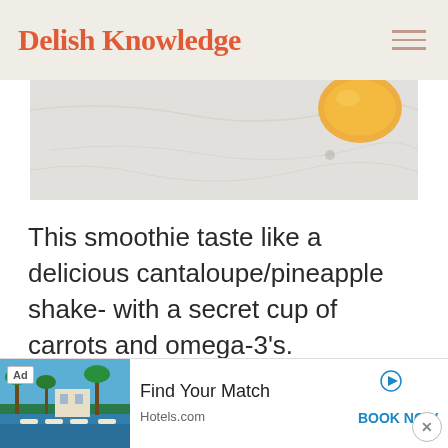Delish Knowledge
[Figure (photo): Partial hero photo of a marble surface with a yellow/orange fruit piece (possibly pineapple or cantaloupe) visible in the upper right corner]
This smoothie taste like a delicious cantaloupe/pineapple shake- with a secret cup of carrots and omega-3's.
[Figure (photo): Advertisement banner: Hotels.com ad with a photo of a resort with pool and palm trees. Text reads 'Find Your Match' and 'BOOK NOW'. Ad label shown.]